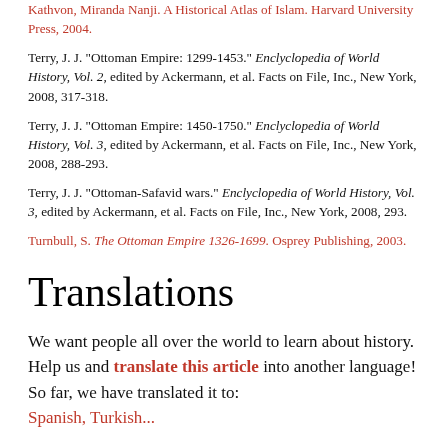Kathvon, Miranda Nanji. A Historical Atlas of Islam. Harvard University Press, 2004.
Terry, J. J. "Ottoman Empire: 1299-1453." Enclyclopedia of World History, Vol. 2, edited by Ackermann, et al. Facts on File, Inc., New York, 2008, 317-318.
Terry, J. J. "Ottoman Empire: 1450-1750." Enclyclopedia of World History, Vol. 3, edited by Ackermann, et al. Facts on File, Inc., New York, 2008, 288-293.
Terry, J. J. "Ottoman-Safavid wars." Enclyclopedia of World History, Vol. 3, edited by Ackermann, et al. Facts on File, Inc., New York, 2008, 293.
Turnbull, S. The Ottoman Empire 1326-1699. Osprey Publishing, 2003.
Translations
We want people all over the world to learn about history. Help us and translate this article into another language! So far, we have translated it to: Spanish, Turkish...